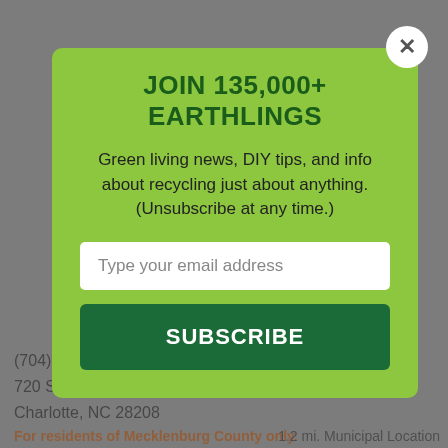JOIN 135,000+ EARTHLINGS
Green living news, DIY tips, and info about recycling just about anything. (Unsubscribe at any time.)
Type your email address
SUBSCRIBE
(704) 432-0400
720 South Summit Avenue
Charlotte, NC 28208
For residents of Mecklenburg County only.
1.2 mi. Municipal Location